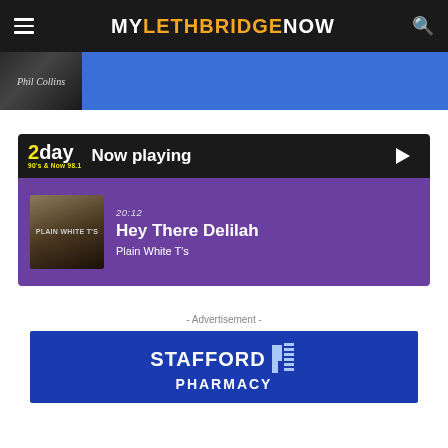MY LETHBRIDGE NOW
[Figure (screenshot): Phil Collins album thumbnail on blue background banner]
[Figure (infographic): 2day FM 90s and Now 98.1 radio Now Playing widget. Playing: Hey There Delilah by Plain White T's, 20:12]
- Advertisement -
[Figure (logo): Stafford Pharmacy logo on dark blue background]